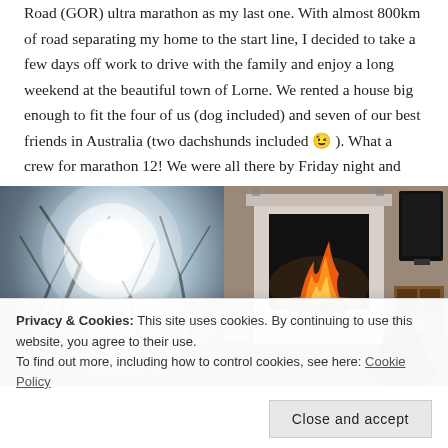Road (GOR) ultra marathon as my last one. With almost 800km of road separating my home to the start line, I decided to take a few days off work to drive with the family and enjoy a long weekend at the beautiful town of Lorne. We rented a house big enough to fit the four of us (dog included) and seven of our best friends in Australia (two dachshunds included 😉 ). What a crew for marathon 12! We were all there by Friday night and had a light dinner with wine and cheese by the fireplace. Well, the others had wine…
[Figure (photo): Two side-by-side photos: left photo shows sunlight through tree branches with bright glare; right photo shows a fireplace with fire burning inside a white surround, a TV on the right, and a dark figure (person or dog) at the bottom right.]
Privacy & Cookies: This site uses cookies. By continuing to use this website, you agree to their use.
To find out more, including how to control cookies, see here: Cookie Policy